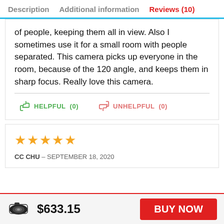Description   Additional information   Reviews (10)
of people, keeping them all in view. Also I sometimes use it for a small room with people separated. This camera picks up everyone in the room, because of the 120 angle, and keeps them in sharp focus. Really love this camera.
HELPFUL (0)   UNHELPFUL (0)
[Figure (other): Five orange star rating icons]
CC CHU – SEPTEMBER 18, 2020
[Figure (photo): Small product image of a camera]
$633.15
BUY NOW